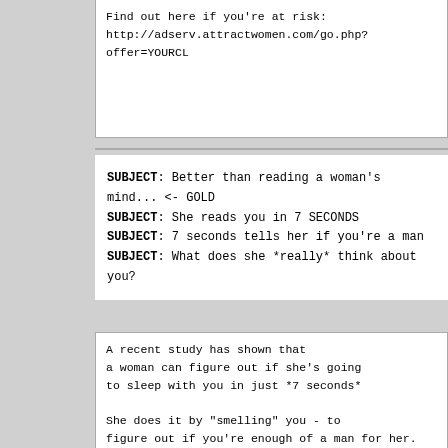Find out here if you're at risk:
http://adserv.attractwomen.com/go.php?offer=YOURCL
SUBJECT: Better than reading a woman's mind... <- GOLD
SUBJECT: She reads you in 7 SECONDS
SUBJECT: 7 seconds tells her if you're a man
SUBJECT: What does she *really* think about you?
A recent study has shown that
a woman can figure out if she's going
to sleep with you in just *7 seconds*

She does it by "smelling" you - to
figure out if you're enough of a man for her.

What you have to know is this:

What can she "smell" about YOU?

And how can you FIX it so she
decides YES, I WANT HIM in
those critical 7 seconds...

You need to make her completely fascinated
- SPELLBOUND with you.